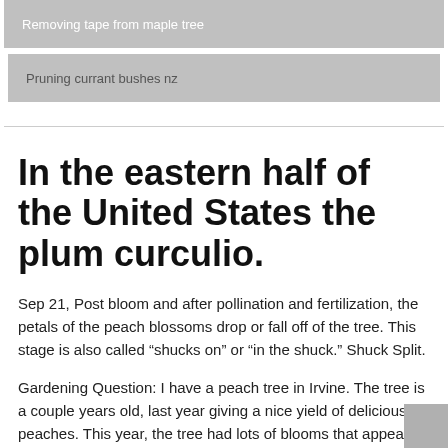Removing tape from maple tree
Pruning currant bushes nz
In the eastern half of the United States the plum curculio.
Sep 21, Post bloom and after pollination and fertilization, the petals of the peach blossoms drop or fall off of the tree. This stage is also called “shucks on” or “in the shuck.” Shuck Split.
Gardening Question: I have a peach tree in Irvine. The tree is a couple years old, last year giving a nice yield of delicious peaches. This year, the tree had lots of blooms that appeared to